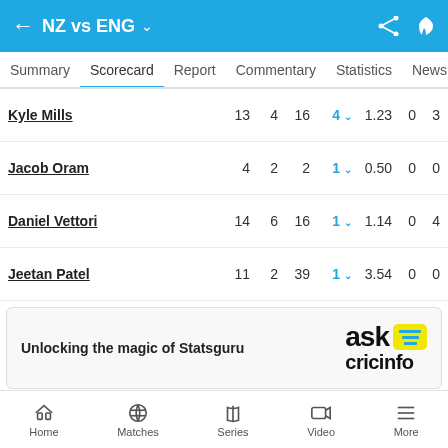NZ vs ENG
Summary  Scorecard  Report  Commentary  Statistics  News
| Player | O | M | R | W | Econ | 0s | 4s |
| --- | --- | --- | --- | --- | --- | --- | --- |
| Kyle Mills | 13 | 4 | 16 | 4 | 1.23 | 0 | 3 |
| Jacob Oram | 4 | 2 | 2 | 1 | 0.50 | 0 | 0 |
| Daniel Vettori | 14 | 6 | 16 | 1 | 1.14 | 0 | 4 |
| Jeetan Patel | 11 | 2 | 39 | 1 | 3.54 | 0 | 0 |
[Figure (logo): Ask Cricinfo logo with yellow speech bubble icon]
Unlocking the magic of Statsguru
MATCH DETAILS
Home  Matches  Series  Video  More